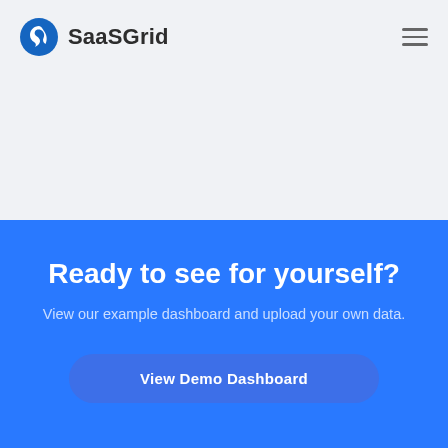SaaSGrid
Ready to see for yourself?
View our example dashboard and upload your own data.
View Demo Dashboard